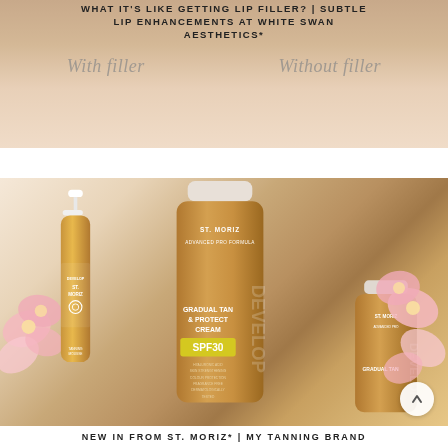[Figure (photo): Top portion showing a blog/social media post header with text overlay on a lip photo background: 'WHAT IT'S LIKE GETTING LIP FILLER? | SUBTLE LIP ENHANCEMENTS AT WHITE SWAN AESTHETICS*' with italic script text showing 'With filler' and 'Without filler']
[Figure (photo): Product flatlay photo of St. Moriz Advanced Pro Formula tanning products including a foam bottle, a large tube labeled 'GRADUAL TAN & PROTECT CREAM SPF30', and a smaller tube, arranged with pink flowers on a light background]
NEW IN FROM ST. MORIZ* | MY TANNING BRAND